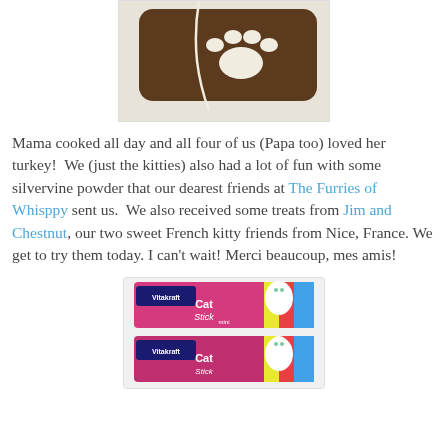[Figure (photo): Photo of a brown cat bed/pillow with a white paw print design on top, placed on a light carpet, with a white cord/string visible]
Mama cooked all day and all four of us (Papa too) loved her turkey!  We (just the kitties) also had a lot of fun with some silvervine powder that our dearest friends at The Furries of Whisppy sent us.  We also received some treats from Jim and Chestnut, our two sweet French kitty friends from Nice, France. We get to try them today. I can't wait! Merci beaucoup, mes amis!
[Figure (photo): Photo of Vitakraft Cat Stick Mini treat packages in pink/colorful packaging with a white cat on the label, two packages shown]